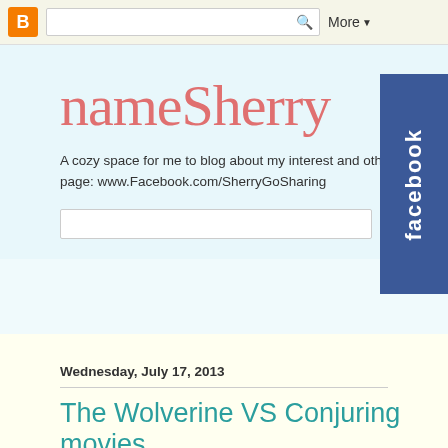Blogger | Search | More
nameSherry
A cozy space for me to blog about my interest and other page: www.Facebook.com/SherryGoSharing
[Figure (logo): Facebook sidebar badge with white text 'facebook' on blue background]
Wednesday, July 17, 2013
The Wolverine VS Conjuring movies